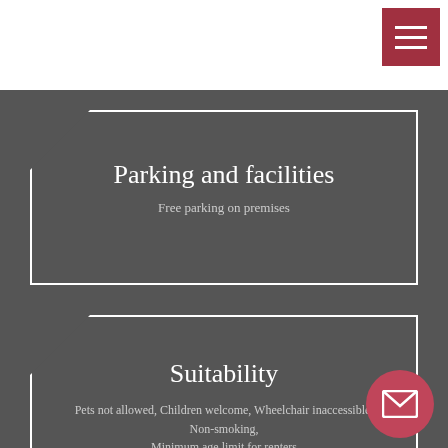[Figure (other): Hamburger menu button (three horizontal white lines on a dark red/crimson square background) in the top-right corner]
Parking and facilities
Free parking on premises
Suitability
Pets not allowed, Children welcome, Wheelchair inaccessible, Non-smoking, Minimum age limit for renters
[Figure (other): Circular mail/envelope icon button in dark red/crimson color at the bottom-right]